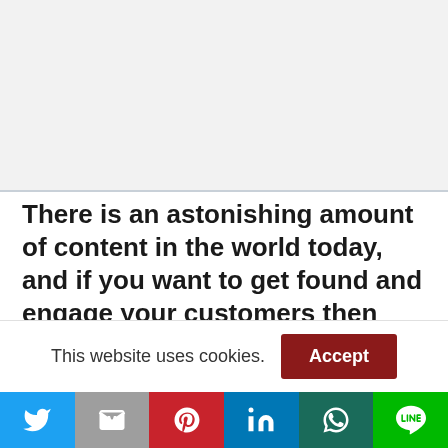[Figure (other): Gray placeholder area at top of page]
There is an astonishing amount of content in the world today, and if you want to get found and engage your customers then you need to make amazing content. While not all content can be amazing, your number one priority for Content
This website uses cookies. Accept
[Figure (other): Social sharing bar with Twitter, Gmail, Pinterest, LinkedIn, WhatsApp, and LINE icons]